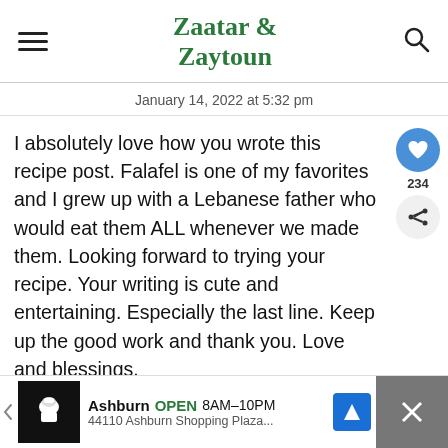Zaatar & Zaytoun
January 14, 2022 at 5:32 pm
I absolutely love how you wrote this recipe post. Falafel is one of my favorites and I grew up with a Lebanese father who would eat them ALL whenever we made them. Looking forward to trying your recipe. Your writing is cute and entertaining. Especially the last line. Keep up the good work and thank you. Love and blessings.
WHAT'S NEXT → Malfouf Mahshi...
Ashburn OPEN 8AM–10PM 44110 Ashburn Shopping Plaza...